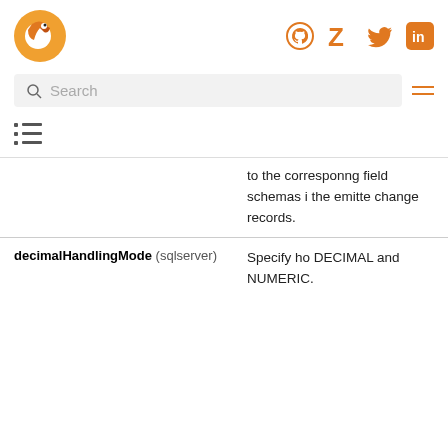Debezium logo, GitHub, Zulip, Twitter, LinkedIn icons
Search
[Figure (other): Table of contents icon (list icon)]
| Property | Description |
| --- | --- |
|  | to the corresponding field schemas in the emitted change records. |
| decimalHandlingMode (sqlserver) | Specify how DECIMAL and NUMERIC |